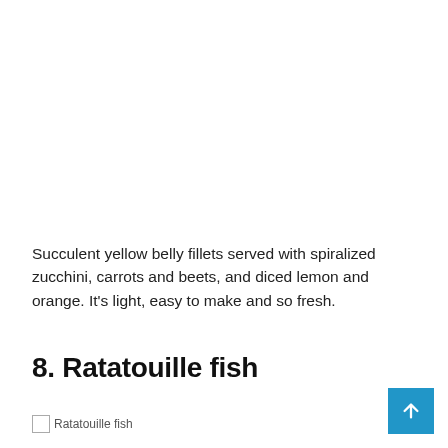Succulent yellow belly fillets served with spiralized zucchini, carrots and beets, and diced lemon and orange. It's light, easy to make and so fresh.
8. Ratatouille fish
[Figure (photo): Broken image placeholder labeled 'Ratatouille fish']